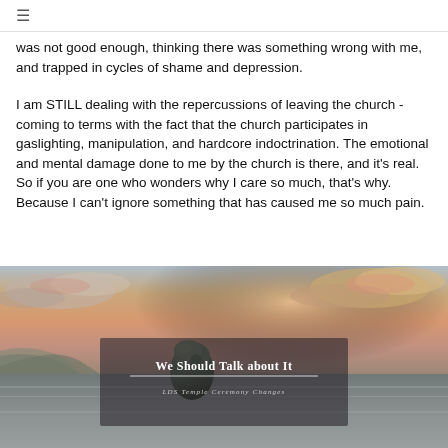≡
was not good enough, thinking there was something wrong with me, and trapped in cycles of shame and depression.
I am STILL dealing with the repercussions of leaving the church - coming to terms with the fact that the church participates in gaslighting, manipulation, and hardcore indoctrination. The emotional and mental damage done to me by the church is there, and it's real. So if you are one who wonders why I care so much, that's why. Because I can't ignore something that has caused me so much pain.
[Figure (photo): Coastal seascape at sunset with dramatic clouds, a rocky sea stack in the foreground, and calm water. Overlaid with a semi-transparent dark box containing the title 'We Should Talk about It' and subtitle 'LDS Temple Ceremony Changes'.]